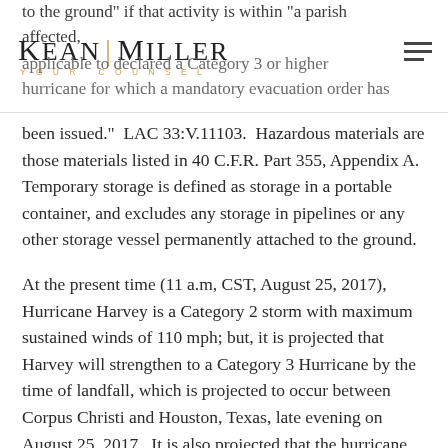to the ground" if that activity is within "a parish affected, applicable to declared a Category 3 or higher hurricane for which a mandatory evacuation order has
been issued."  LAC 33:V.11103.  Hazardous materials are those materials listed in 40 C.F.R. Part 355, Appendix A.  Temporary storage is defined as storage in a portable container, and excludes any storage in pipelines or any other storage vessel permanently attached to the ground.
At the present time (11 a.m, CST, August 25, 2017), Hurricane Harvey is a Category 2 storm with maximum sustained winds of 110 mph; but, it is projected that Harvey will strengthen to a Category 3 Hurricane by the time of landfall, which is projected to occur between Corpus Christi and Houston, Texas, late evening on August 25, 2017.  It is also projected that the hurricane